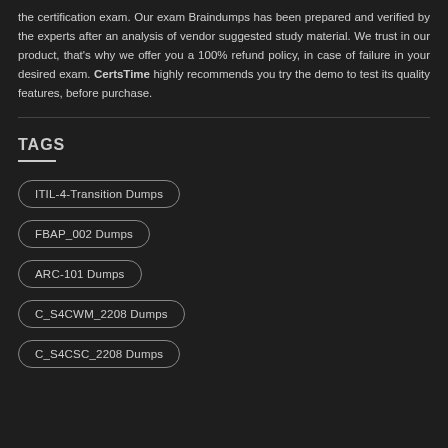the certification exam. Our exam Braindumps has been prepared and verified by the experts after an analysis of vendor suggested study material. We trust in our product, that's why we offer you a 100% refund policy, in case of failure in your desired exam. CertsTime highly recommends you try the demo to test its quality features, before purchase.
TAGS
ITIL-4-Transition Dumps
FBAP_002 Dumps
ARC-101 Dumps
C_S4CWM_2208 Dumps
C_S4CSC_2208 Dumps